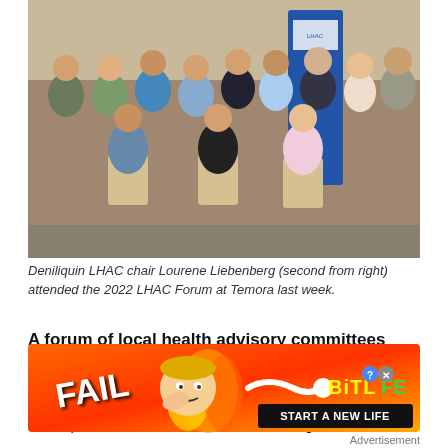[Figure (photo): Group photo of people at the 2022 LHAC Forum at Temora. Two rows of people — a standing row at the back and three people seated in the front on chairs. Indoor venue setting with a blue banner/display stand visible in the background.]
Deniliquin LHAC chair Lourene Liebenberg (second from right) attended the 2022 LHAC Forum at Temora last week.
A forum of local health advisory committees met at Temora last week to make connections with other advocacy bodies across the region.
Deniliquin LHAC chair Lourene Liebenberg and
[Figure (photo): Advertisement for BitLife mobile game. Orange/red flame background with cartoon character, 'FAIL' text, BitLife logo in yellow/green, and 'START A NEW LIFE' call-to-action button.]